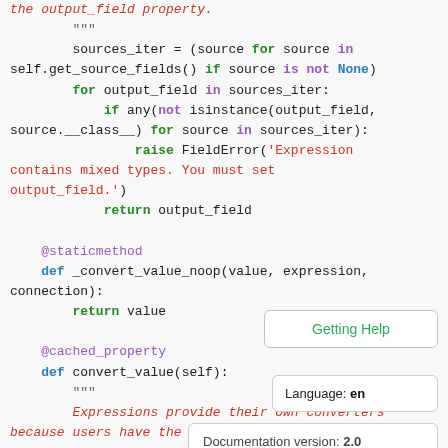Code snippet showing Python source code including sources_iter generator, for loop, isinstance check, FieldError raise, return output_field, @staticmethod decorator, _convert_value_noop function, @cached_property decorator, and convert_value function with docstring.
Getting Help
Language: en
Documentation version: 2.0